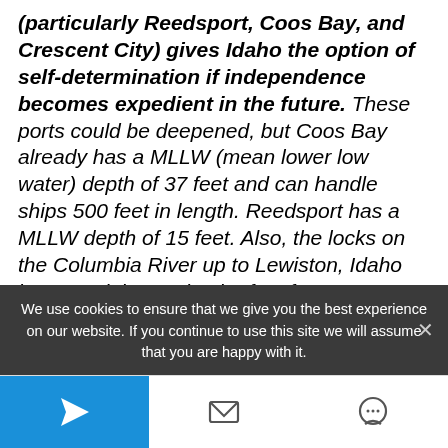(particularly Reedsport, Coos Bay, and Crescent City) gives Idaho the option of self-determination if independence becomes expedient in the future. These ports could be deepened, but Coos Bay already has a MLLW (mean lower low water) depth of 37 feet and can handle ships 500 feet in length. Reedsport has a MLLW depth of 15 feet. Also, the locks on the Columbia River up to Lewiston, Idaho have a minimum depth of 15 feet.
We use cookies to ensure that we give you the best experience on our website. If you continue to use this site we will assume that you are happy with it.